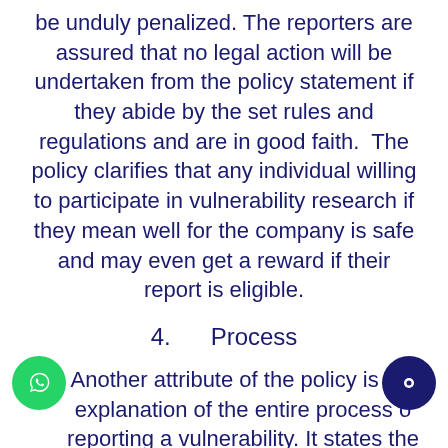be unduly penalized. The reporters are assured that no legal action will be undertaken from the policy statement if they abide by the set rules and regulations and are in good faith.  The policy clarifies that any individual willing to participate in vulnerability research if they mean well for the company is safe and may even get a reward if their report is eligible.
4.      Process
Another attribute of the policy is the explanation of the entire process of reporting a vulnerability. It states the